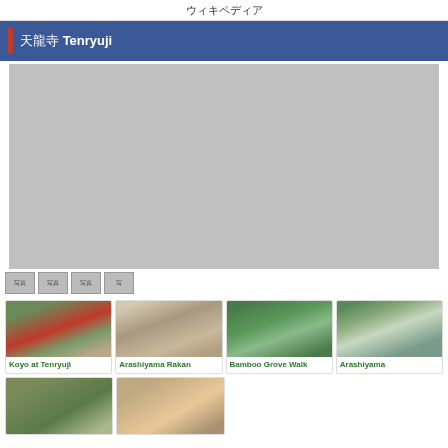ウィキペディア
天龍寺 Tenryuji
[Figure (photo): Large main photo area showing Tenryuji temple grounds (placeholder gray)]
[Figure (photo): Thumbnail navigation strip with 4 small thumbnails]
[Figure (photo): Koyo at Tenryuji - autumn foliage at Tenryuji temple]
Koyo at Tenryuji
[Figure (photo): Arashiyama Rakan - stone statues]
Arashiyama Rakan
[Figure (photo): Bamboo Grove Walk - famous bamboo path]
Bamboo Grove Walk
[Figure (photo): Arashiyama - mountain and river view]
Arashiyama
[Figure (photo): Second row card 1 - partial view]
[Figure (photo): Second row card 2 - partial view]